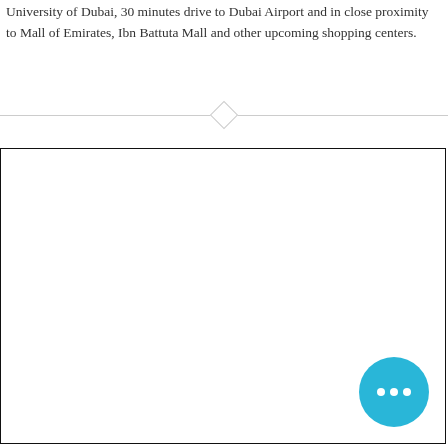University of Dubai, 30 minutes drive to Dubai Airport and in close proximity to Mall of Emirates, Ibn Battuta Mall and other upcoming shopping centers.
[Figure (photo): Large white/blank image area with a decorative diamond divider above it and a blue chat bubble icon in the bottom-right corner.]